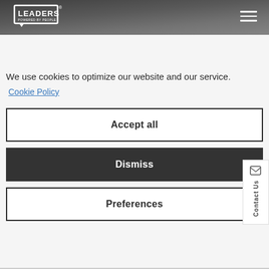[Figure (logo): Leaders - Powered by People logo, white text in speech bubble box, on dark header background]
We use cookies to optimize our website and our service.
Cookie Policy
Accept all
Dismiss
Preferences
Contact Us